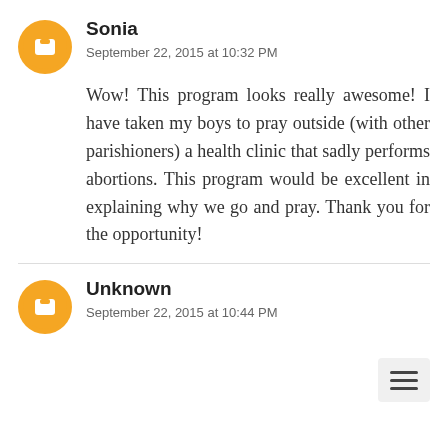Sonia
September 22, 2015 at 10:32 PM
Wow! This program looks really awesome! I have taken my boys to pray outside (with other parishioners) a health clinic that sadly performs abortions. This program would be excellent in explaining why we go and pray. Thank you for the opportunity!
Unknown
September 22, 2015 at 10:44 PM